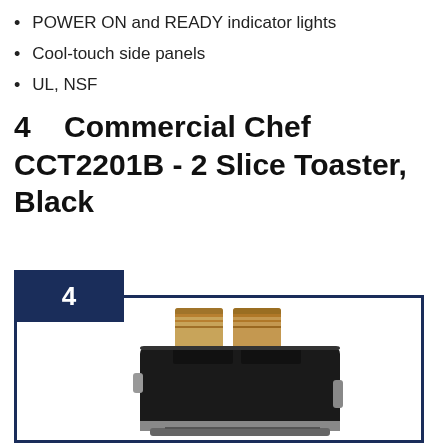POWER ON and READY indicator lights
Cool-touch side panels
UL, NSF
4    Commercial Chef CCT2201B - 2 Slice Toaster, Black
[Figure (photo): Black 2-slice toaster with two slices of toast inserted, labeled with a rank badge showing number 4 inside a dark navy rectangle. The toaster is inside a dark navy border box.]